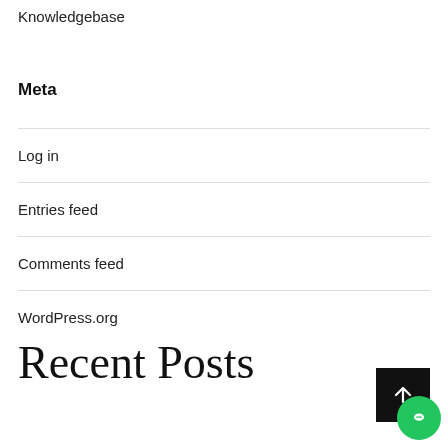Knowledgebase
Meta
Log in
Entries feed
Comments feed
WordPress.org
Recent Posts
[Figure (other): Scroll-to-top button (dark square with upward arrow) and green chat button overlay in bottom-right corner]